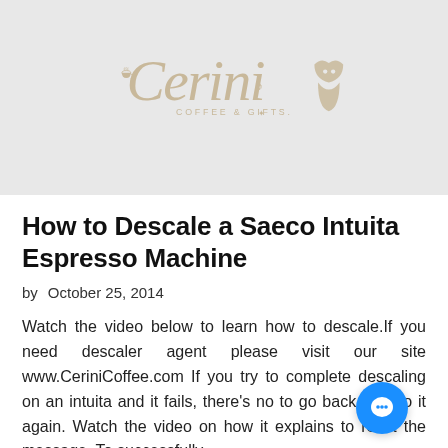[Figure (logo): Cerini Coffee & Gifts logo in tan/beige color on a light gray background, featuring stylized text with a coffee cup and cat silhouette]
How to Descale a Saeco Intuita Espresso Machine
by   October 25, 2014
Watch the video below to learn how to descale.If you need descaler agent please visit our site www.CeriniCoffee.com If you try to complete descaling on an intuita and it fails, there's no to go back and do it again. Watch the video on how it explains to reset the message. To successfully